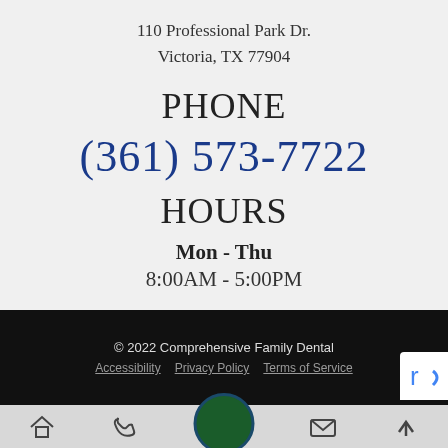110 Professional Park Dr.
Victoria, TX 77904
PHONE
(361) 573-7722
HOURS
Mon - Thu
8:00AM - 5:00PM
© 2022 Comprehensive Family Dental
Accessibility  Privacy Policy  Terms of Service